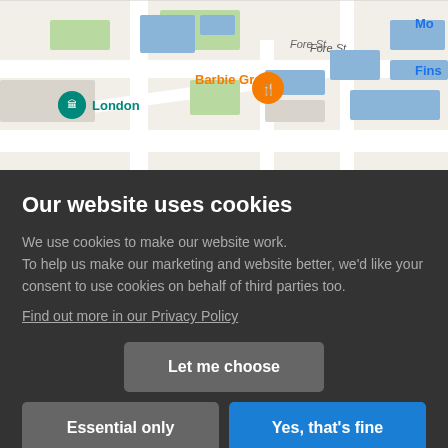[Figure (map): Google Maps screenshot showing area around Barbican, London. Shows streets including Fore St and London Wall, green building footprints, blue road labels including 'Mo' and 'Fins' (truncated), teal location pin labeled 'London', and an orange restaurant pin labeled 'Barbie Green'.]
Our website uses cookies
We use cookies to make our website work. To help us make our marketing and website better, we'd like your consent to use cookies on behalf of third parties too.
Find out more in our Privacy Policy
Let me choose
Essential only
Yes, that's fine